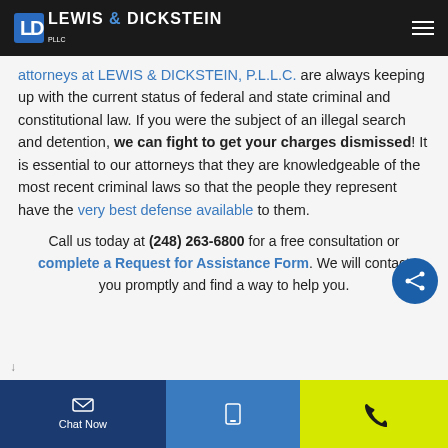Lewis & Dickstein PLLC
attorneys at LEWIS & DICKSTEIN, P.L.L.C. are always keeping up with the current status of federal and state criminal and constitutional law. If you were the subject of an illegal search and detention, we can fight to get your charges dismissed! It is essential to our attorneys that they are knowledgeable of the most recent criminal laws so that the people they represent have the very best defense available to them.
Call us today at (248) 263-6800 for a free consultation or complete a Request for Assistance Form. We will contact you promptly and find a way to help you.
Chat Now